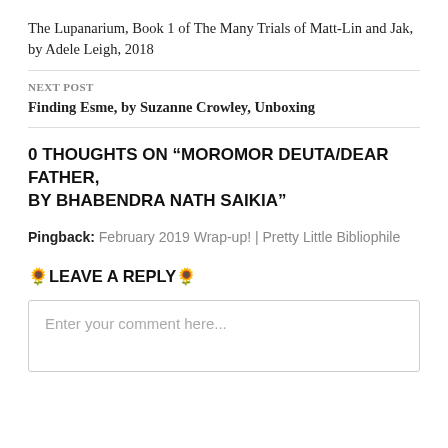The Lupanarium, Book 1 of The Many Trials of Matt-Lin and Jak, by Adele Leigh, 2018
NEXT POST
Finding Esme, by Suzanne Crowley, Unboxing
0 THOUGHTS ON “MOROMOR DEUTA/DEAR FATHER, BY BHABENDRA NATH SAIKIA”
Pingback: February 2019 Wrap-up! | Pretty Little Bibliophile
🌻 LEAVE A REPLY 🌻
Enter your comment here...